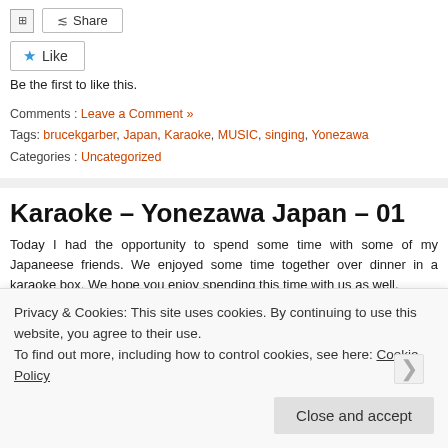Share
Like
Be the first to like this.
Comments : Leave a Comment »
Tags: brucekgarber, Japan, Karaoke, MUSIC, singing, Yonezawa
Categories : Uncategorized
Karaoke – Yonezawa Japan – 01
Today I had the opportunity to spend some time with some of my Japaneese friends. We enjoyed some time together over dinner in a karaoke box. We hope you enjoy spending this time with us as well.
This is the first of a number of video's we will share with you as editing time allows more to come soon!
121_0184_BKG.mov
Privacy & Cookies: This site uses cookies. By continuing to use this website, you agree to their use.
To find out more, including how to control cookies, see here: Cookie Policy
Close and accept